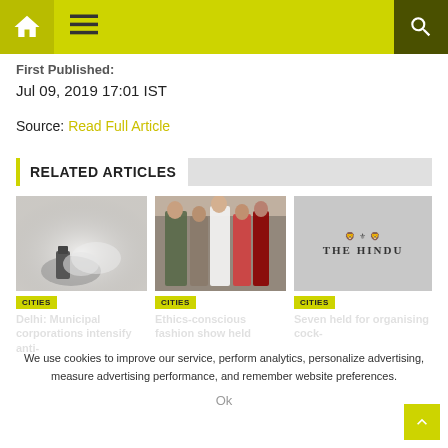Home | Menu | Search
First Published:
Jul 09, 2019 17:01 IST
Source: Read Full Article
RELATED ARTICLES
[Figure (photo): Person with fog machine in misty environment]
[Figure (photo): Group of women in traditional Indian attire on stage]
[Figure (logo): The Hindu newspaper logo on grey background]
CITIES
CITIES
CITIES
Delhi: Municipal corporations intensify anti-
Ethics-conscious fashion show held
Seven held for organising cock-
We use cookies to improve our service, perform analytics, personalize advertising, measure advertising performance, and remember website preferences.
Ok